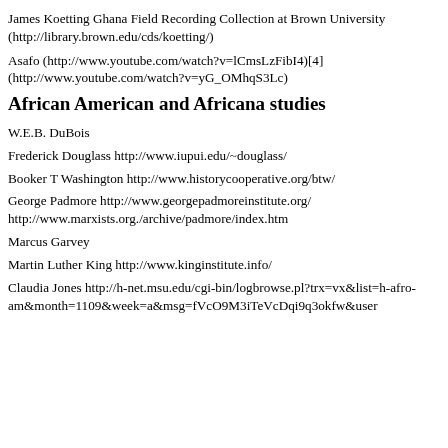James Koetting Ghana Field Recording Collection at Brown University (http://library.brown.edu/cds/koetting/)
Asafo (http://www.youtube.com/watch?v=lCmsLzFibI4)[4] (http://www.youtube.com/watch?v=yG_OMhqS3Lc)
African American and Africana studies
W.E.B. DuBois
Frederick Douglass http://www.iupui.edu/~douglass/
Booker T Washington http://www.historycooperative.org/btw/
George Padmore http://www.georgepadmoreinstitute.org/ http://www.marxists.org./archive/padmore/index.htm
Marcus Garvey
Martin Luther King http://www.kinginstitute.info/
Claudia Jones http://h-net.msu.edu/cgi-bin/logbrowse.pl?trx=vx&list=h-afro-am&month=1109&week=a&msg=fVcO9M3iTeVcDqi9q3okfw&user